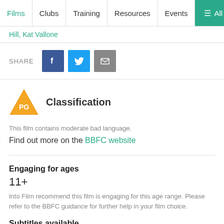Films | Clubs | Training | Resources | Events | ≡ All
Hill, Kat Vallone
SHARE
Classification
This film contains moderate bad language.
Find out more on the BBFC website
Engaging for ages
11+
Into Film recommend this film is engaging for this age range. Please refer to the BBFC guidance for further help in your film choice.
Subtitles available